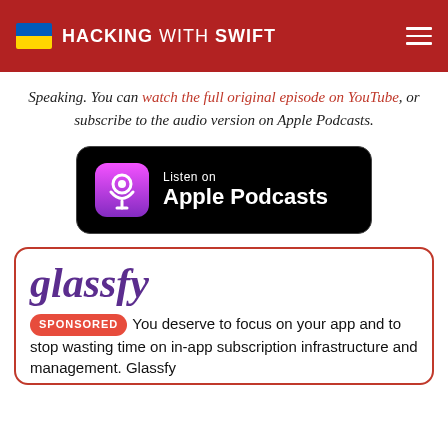HACKING WITH SWIFT
Speaking. You can watch the full original episode on YouTube, or subscribe to the audio version on Apple Podcasts.
[Figure (logo): Listen on Apple Podcasts badge — black rounded rectangle with purple podcast icon and white text]
[Figure (logo): Glassfy logo in purple italic text inside a red-bordered sponsor card]
SPONSORED You deserve to focus on your app and to stop wasting time on in-app subscription infrastructure and management. Glassfy